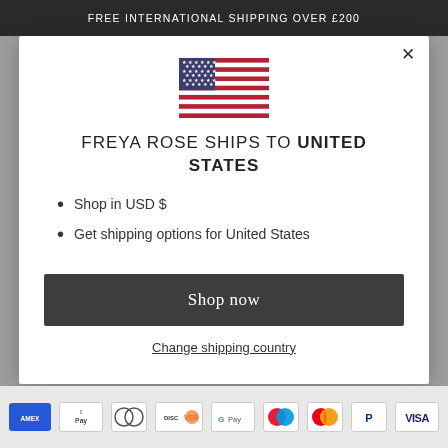FREE INTERNATIONAL SHIPPING OVER £200
[Figure (illustration): US flag icon]
FREYA ROSE SHIPS TO UNITED STATES
Shop in USD $
Get shipping options for United States
Shop now
Change shipping country
[Figure (illustration): Payment method icons: Amex, Apple Pay, Diners Club, Discover, Google Pay, Maestro, Mastercard, PayPal, Visa]